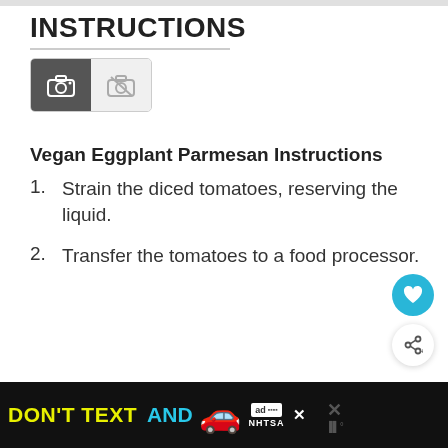INSTRUCTIONS
[Figure (other): Photo/video toggle buttons: active camera icon on dark background, inactive crossed-out camera on light background]
Vegan Eggplant Parmesan Instructions
Strain the diced tomatoes, reserving the liquid.
Transfer the tomatoes to a food processor.
[Figure (infographic): Ad banner: DON'T TEXT AND [car emoji] with ad and NHTSA logos on black background]